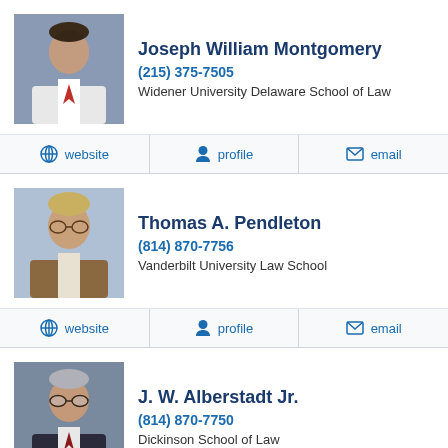Joseph William Montgomery
(215) 375-7505
Widener University Delaware School of Law
website | profile | email
Thomas A. Pendleton
(814) 870-7756
Vanderbilt University Law School
website | profile | email
J. W. Alberstadt Jr.
(814) 870-7750
Dickinson School of Law